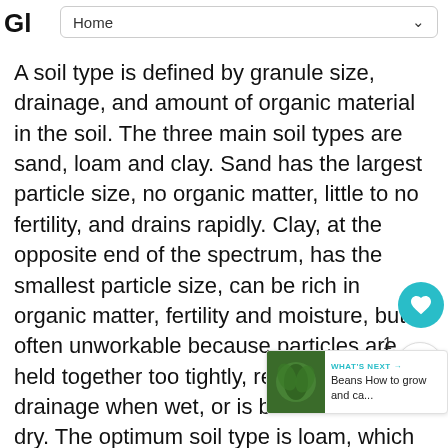Gl… Home
A soil type is defined by granule size, drainage, and amount of organic material in the soil. The three main soil types are sand, loam and clay. Sand has the largest particle size, no organic matter, little to no fertility, and drains rapidly. Clay, at the opposite end of the spectrum, has the smallest particle size, can be rich in organic matter, fertility and moisture, but is often unworkable because particles are held together too tightly, resulting in poor drainage when wet, or is brick-like when dry. The optimum soil type is loam, which is the happy median between sand and clay: It is organic matter, nutrient-rich, and has the